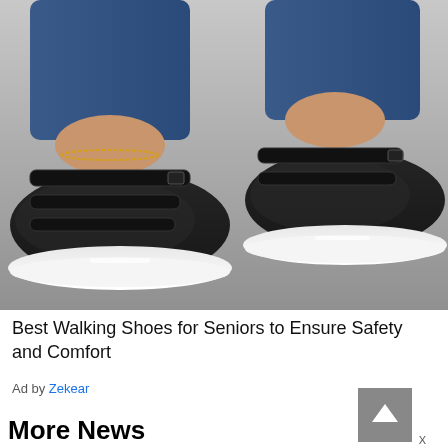[Figure (photo): Close-up photo of a person's feet wearing black velcro-strap walking shoes/sneakers with white soles. The person is wearing blue jeans and has a gold anklet on one ankle. The shoes have multiple horizontal straps with velcro closures. Background is a grey surface.]
Best Walking Shoes for Seniors to Ensure Safety and Comfort
Ad by Zekear
[Figure (other): Dark grey square button with a white upward-pointing arrow icon (scroll-to-top button)]
More News